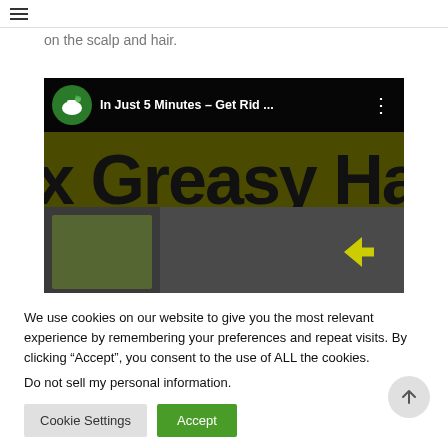≡
on the scalp and hair.
[Figure (screenshot): Video thumbnail showing 'In Just 5 Minutes – Get Rid ...' with text 'x Greasy Ha' visible, green mortar and pestle channel icon, and a partial image of hair below.]
We use cookies on our website to give you the most relevant experience by remembering your preferences and repeat visits. By clicking "Accept", you consent to the use of ALL the cookies.
Do not sell my personal information.